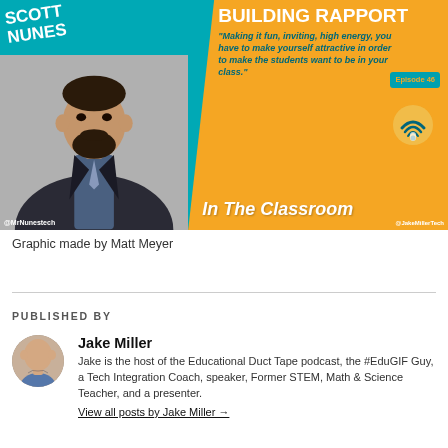[Figure (photo): Podcast episode graphic for 'In The Classroom' podcast. Left teal panel shows Scott Nunes (a bearded man in a suit) with his name in white bold text and handle @MrNunestech. Right orange diagonal panel shows title 'Building Rapport', quote: 'Making it fun, inviting, high energy, you have to make yourself attractive in order to make the students want to be in your class.' Episode 46 badge and WiFi/microphone icon visible. Bottom text reads 'In The Classroom'. Handle @JakeMillerTech bottom right.]
Graphic made by Matt Meyer
PUBLISHED BY
[Figure (photo): Circular avatar photo of Jake Miller, a bald man with tattoos.]
Jake Miller
Jake is the host of the Educational Duct Tape podcast, the #EduGIF Guy, a Tech Integration Coach, speaker, Former STEM, Math & Science Teacher, and a presenter.
View all posts by Jake Miller →